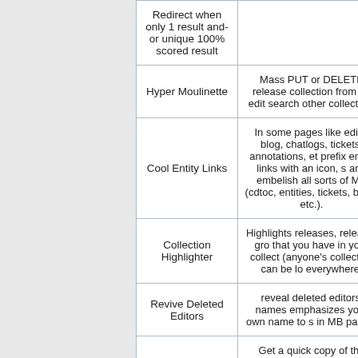| Feature | Description |
| --- | --- |
| Redirect when only 1 result and-or unique 100% scored result |  |
| Hyper Moulinette | Mass PUT or DELETE release collection from an edit search other collection. |
| Cool Entity Links | In some pages like edits, blog, chatlogs, tickets, annotations, et prefix entity links with an icon, s and embelish all sorts of MB (cdtoc, entities, tickets, bugs, etc.). |
| Collection Highlighter | Highlights releases, release-gro that you have in your collect (anyone's collection can be lo everywhere. |
| Revive Deleted Editors | reveal deleted editors' names emphasizes your own name to s in MB pages. |
| Plain Text | Get a quick copy of the tracklists text (several formats) for quick r |